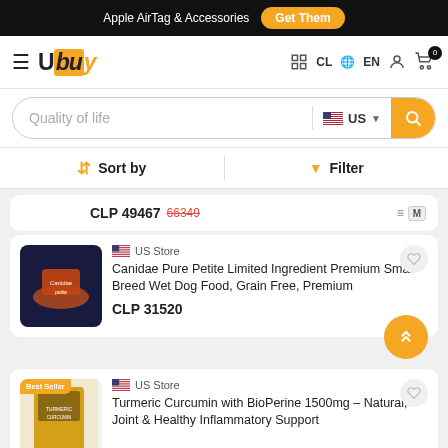Apple AirTag & Accessories  Get Them
[Figure (logo): Ubuy logo with hamburger menu, CL country selector, EN language, user icon, cart with 0 items]
[Figure (screenshot): Search bar with text 'Quality of life', US flag store selector, search button]
Sort by   Filter
CLP 49467  66349
US Store
Canidae Pure Petite Limited Ingredient Premium Small Breed Wet Dog Food, Grain Free, Premium
CLP 31520
US Store
Turmeric Curcumin with BioPerine 1500mg – Natural, Joint & Healthy Inflammatory Support